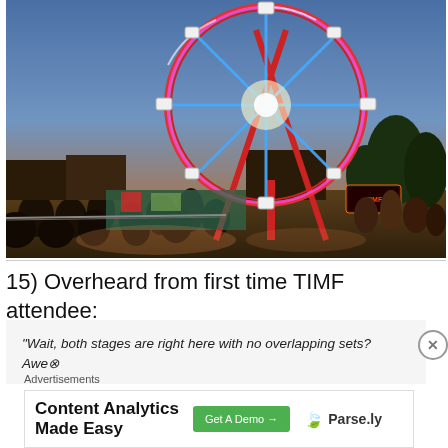[Figure (photo): A ferris wheel lit up with pink and blue neon lights at dusk/evening at an outdoor festival (TIMF). Crowds of people visible in the foreground near metal fencing, carnival rides and booths in background, trees visible on right side, dusk sky.]
15) Overheard from first time TIMF attendee:
“Wait, both stages are right here with no overlapping sets? Awe…
Advertisements
Content Analytics Made Easy   Get A Demo →   🍃 Parse.ly